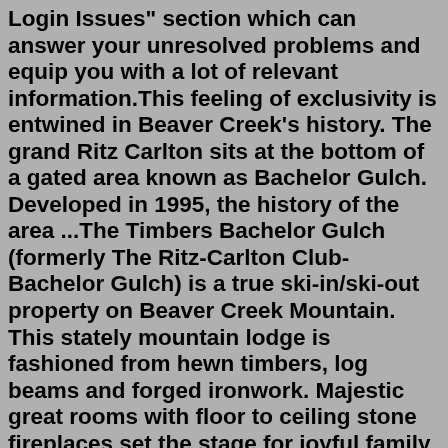Login Issues" section which can answer your unresolved problems and equip you with a lot of relevant information.This feeling of exclusivity is entwined in Beaver Creek's history. The grand Ritz Carlton sits at the bottom of a gated area known as Bachelor Gulch. Developed in 1995, the history of the area ...The Timbers Bachelor Gulch (formerly The Ritz-Carlton Club-Bachelor Gulch) is a true ski-in/ski-out property on Beaver Creek Mountain. This stately mountain lodge is fashioned from hewn timbers, log beams and forged ironwork. Majestic great rooms with floor to ceiling stone fireplaces set the stage for joyful family gatherings and unrivaled ... (VMLS) 2 beds, 2.5 baths, 1884 sq. ft. condo located at 0 Snow Cloud Ph Ii #515 Rd #515, Avon, CO 81620 sold for $992,750 on Jun 26, 2002. MLS# 124680. Privacy And ... Snow Cloud Lodge offers the very best of true ski-in/ski-out amenities in Bachelor Gulch, Colorado. Located next to the Ritz-Carlton and the base of the Bachelor Gulch Express (Chair 16), Snow Cloud Lodge #913 is a 4 bedroom, 4.5 bathroom, top